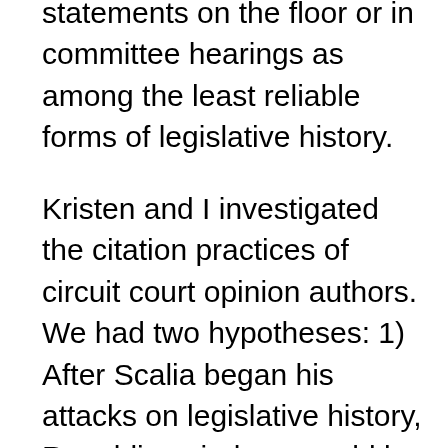committee and conference reports as highly reliable and statements on the floor or in committee hearings as among the least reliable forms of legislative history.
Kristen and I investigated the citation practices of circuit court opinion authors. We had two hypotheses: 1) After Scalia began his attacks on legislative history, Republican judges would be more likely to adopt his position (by avoiding citations to legislative history) than their Democratic counterparts. In other words, judges nominated by Republican Presidents would cite legislative history less often than those nominated by Democratic Presidents. 2) Separately, post-Reagan (i.e., Reagan-and-later) judges would be more likely to adopt Scalia's position than pre-Reagan judges would (so, e.g., H.W. Bush judges would cite legislative history less often than Nixon judges, and Clinton judges would cite legislative